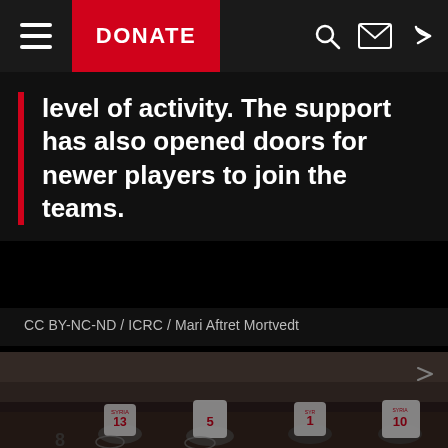DONATE
level of activity. The support has also opened doors for newer players to join the teams.
CC BY-NC-ND / ICRC / Mari Aftret Mortvedt
[Figure (photo): Wheelchair basketball players in Syria jerseys (numbers 5, 13, 10, 1) gathered on an indoor court with spectators in bleachers in the background.]